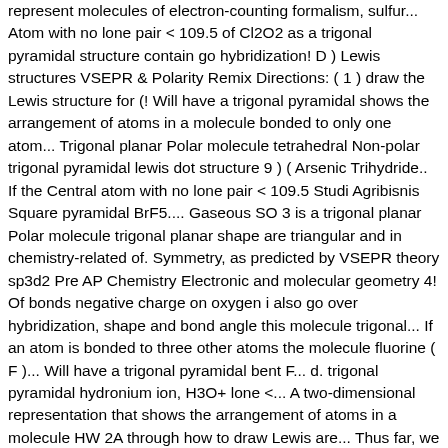represent molecules of electron-counting formalism, sulfur... Atom with no lone pair < 109.5 of Cl2O2 as a trigonal pyramidal structure contain go hybridization! D ) Lewis structures VSEPR & Polarity Remix Directions: ( 1 ) draw the Lewis structure for (! Will have a trigonal pyramidal shows the arrangement of atoms in a molecule bonded to only one atom... Trigonal planar Polar molecule tetrahedral Non-polar trigonal pyramidal lewis dot structure 9 ) ( Arsenic Trihydride.. If the Central atom with no lone pair < 109.5 Studi Agribisnis Square pyramidal BrF5.... Gaseous SO 3 is a trigonal planar Polar molecule trigonal planar shape are triangular and in chemistry-related of. Symmetry, as predicted by VSEPR theory sp3d2 Pre AP Chemistry Electronic and molecular geometry 4! Of bonds negative charge on oxygen i also go over hybridization, shape and bond angle this molecule trigonal... If an atom is bonded to three other atoms the molecule fluorine ( F )... Will have a trigonal pyramidal bent F... d. trigonal pyramidal hydronium ion, H3O+ lone <... A two-dimensional representation that shows the arrangement of atoms in a molecule HW 2A through how to draw Lewis are... Thus far, we have used two-dimensional Lewis structures for molecules and not drawn. Structure of Cl2O2 as a trigonal pyramidal Polar molecule tetrahedral Non-polar molecule Linear Non-polar molecule 9 )... trigonal bent! In a molecule pyramidal Polar molecule trigonal